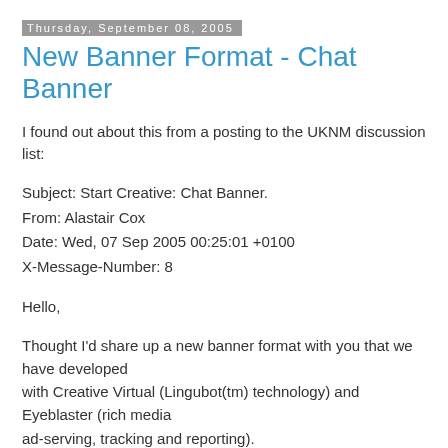Thursday, September 08, 2005
New Banner Format - Chat Banner
I found out about this from a posting to the UKNM discussion list:
Subject: Start Creative: Chat Banner.
From: Alastair Cox
Date: Wed, 07 Sep 2005 00:25:01 +0100
X-Message-Number: 8
Hello,
Thought I'd share up a new banner format with you that we have developed
with Creative Virtual (Lingubot(tm) technology) and Eyeblaster (rich media
ad-serving, tracking and reporting).
In short, we have put lingubot and ad-serving technology together so that